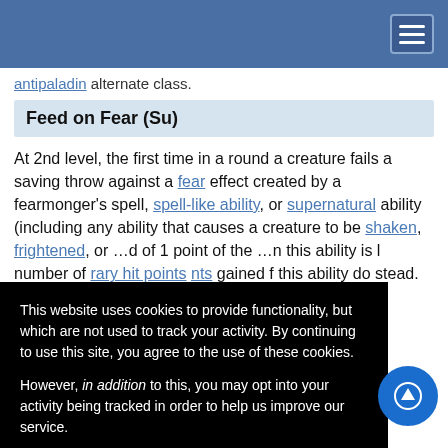antipaladin alternate class.
Feed on Fear (Su)
At 2nd level, the first time in a round a creature fails a saving throw against a fear effect created by a fearmonger's spell, spell-like ability, or supernatural ability (including any ability that causes a creature to be shaken, frightened, or [continues] d of 1 point of the [continues] n this ability is l number of rary hit points nts gained f this ability do stead. a number of baladin level
This website uses cookies to provide functionality, but which are not used to track your activity. By continuing to use this site, you agree to the use of these cookies.

However, in addition to this, you may opt into your activity being tracked in order to help us improve our service.

For more information, please click here